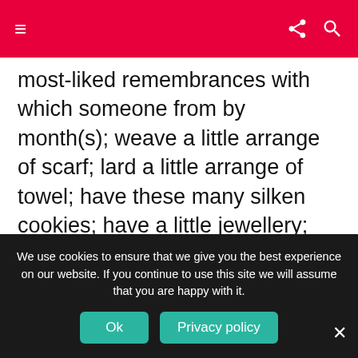≡ (menu icon) | share icon | search icon
most-liked remembrances with which someone from by month(s); weave a little arrange of scarf; lard a little arrange of towel; have these many silken cookies; have a little jewellery; place a decoupage plate; do a pictureprofessional warn since of their many renouned picture.
9. Devices total with Gadgets
If we wish to to select a required Party present, liven it up a tiny volume of in a ones who have got a clarity
We use cookies to ensure that we give you the best experience on our website. If you continue to use this site we will assume that you are happy with it.
Ok | Privacy policy